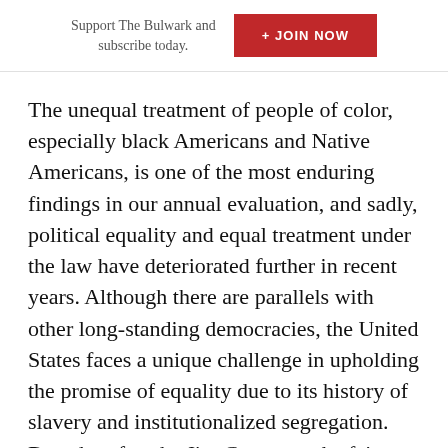Support The Bulwark and subscribe today. + JOIN NOW
The unequal treatment of people of color, especially black Americans and Native Americans, is one of the most enduring findings in our annual evaluation, and sadly, political equality and equal treatment under the law have deteriorated further in recent years. Although there are parallels with other long-standing democracies, the United States faces a unique challenge in upholding the promise of equality due to its history of slavery and institutionalized segregation. Decades after the Jim Crow era, the fairness and inclusivity of elections is still at issue.